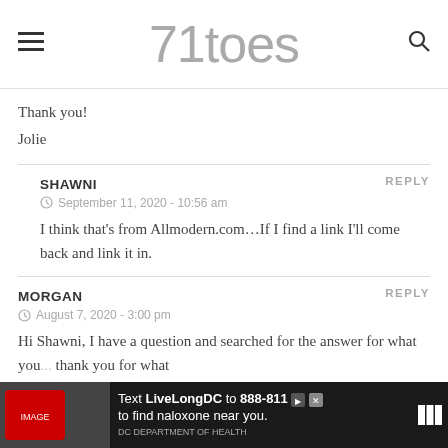71toes
Thank you!
Jolie
SHAWNI
September 11, 2020 - 10:56 am
I think that’s from Allmodern.com…If I find a link I’ll come back and link it in.
MORGAN
August 7, 2020 - 3:00 pm
Hi Shawni, I have a question and searched for the answer for what you...
[Figure (other): Advertisement banner: Text LiveLongDC to 888-811 to find naloxone near you.]